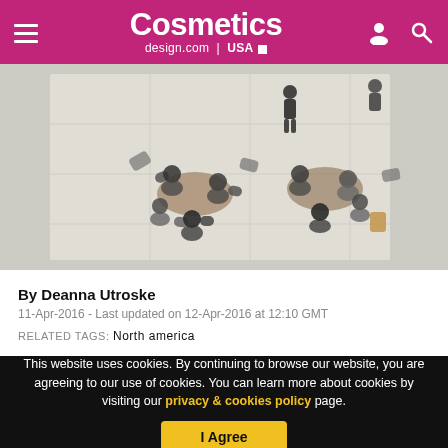Cosmetics design.com | USA
[Figure (photo): Aerial overhead view of people sitting at tables in a lobby or cafeteria, with chairs and people walking.]
By Deanna Utroske
11-Apr-2016 - Last updated on 12-Apr-2016 at 12:10 GMT
RELATED TAGS: North america
This website uses cookies. By continuing to browse our website, you are agreeing to our use of cookies. You can learn more about cookies by visiting our privacy & cookies policy page.